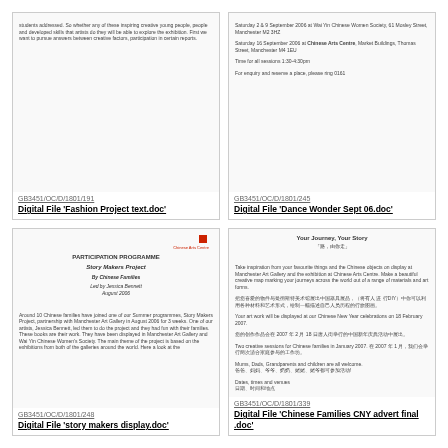[Figure (screenshot): Thumbnail of Fashion Project text document with small text]
GB3451/OC/D/1801/191
Digital File 'Fashion Project text.doc'
[Figure (screenshot): Thumbnail of Dance Wonder Sept 06 document with event details]
GB3451/OC/D/1801/245
Digital File 'Dance Wonder Sept 06.doc'
[Figure (screenshot): Thumbnail of Story Makers Project participation programme document by Chinese Families]
GB3451/OC/D/1801/248
Digital File 'story makers display.doc'
[Figure (screenshot): Thumbnail of Chinese Families CNY advert with bilingual text]
GB3451/OC/D/1801/339
Digital File 'Chinese Families CNY advert final .doc'